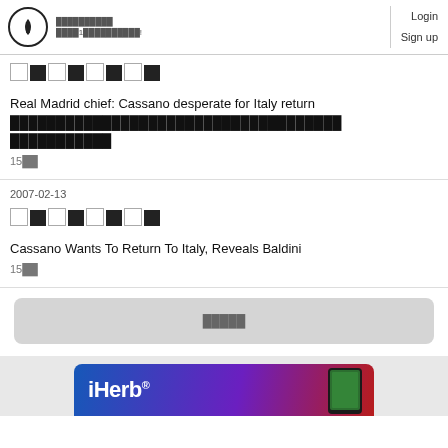Login  Sign up
[Figure (other): Category tag pixel blocks row]
Real Madrid chief: Cassano desperate for Italy return ████████████████████ ███████████
15分前
2007-02-13
[Figure (other): Category tag pixel blocks row]
Cassano Wants To Return To Italy, Reveals Baldini
15分前
もっと見る
[Figure (other): iHerb advertisement banner]